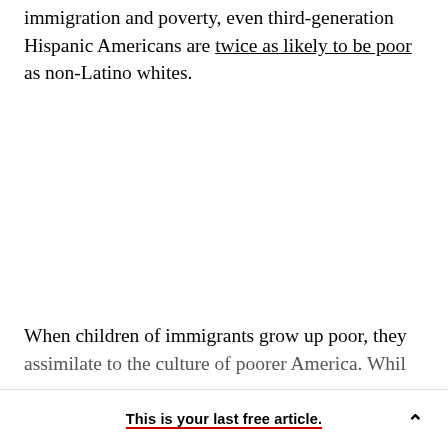immigration and poverty, even third-generation Hispanic Americans are twice as likely to be poor as non-Latino whites.
When children of immigrants grow up poor, they assimilate to the culture of poorer America. Whil...
This is your last free article.